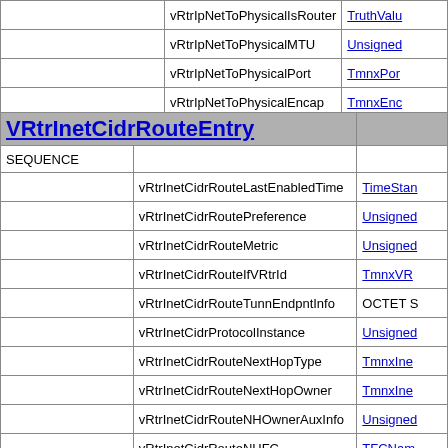|  |  |  |
| --- | --- | --- |
|  | vRtrIpNetToPhysicalIsRouter | TruthValu |
|  | vRtrIpNetToPhysicalMTU | Unsigned |
|  | vRtrIpNetToPhysicalPort | TmnxPort |
|  | vRtrIpNetToPhysicalEncap | TmnxEnc |
| VRtrInetCidrRouteEntry |  |  |
| --- | --- | --- |
| SEQUENCE |  |  |
|  | vRtrInetCidrRouteLastEnabledTime | TimeStan |
|  | vRtrInetCidrRoutePreference | Unsigned |
|  | vRtrInetCidrRouteMetric | Unsigned |
|  | vRtrInetCidrRouteIfVRtrId | TmnxVR |
|  | vRtrInetCidrRouteTunnEndpntInfo | OCTET S |
|  | vRtrInetCidrProtocolInstance | Unsigned |
|  | vRtrInetCidrRouteNextHopType | TmnxInet |
|  | vRtrInetCidrRouteNextHopOwner | TmnxInet |
|  | vRtrInetCidrRouteNHOwnerAuxInfo | Unsigned |
|  | vRtrInetCidrRouteNHFC | TFCName |
|  | vRtrInetCidrRouteNHPriority | TPriority |
|  | vRtrInetCidrRouteBkupFlags | INTEGER |
|  | vRtrInetCidrRouteBkupNextHopType | InetAddr |
|  | vRtrInetCidrRouteBkupNextHop | InetAddr |